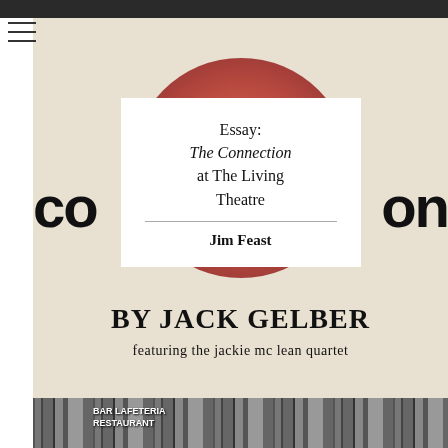[Figure (illustration): Book/play cover image for 'The Connection' by Jack Gelber featuring the Jackie McLean Quartet. Shows large bold 'CONNECTION' text partially visible on left and right sides, with a large red circle/fingerprint in the center background, and a white overlay card in the middle with essay title and author name. Bottom shows 'BY JACK GELBER' and 'featuring the jackie mc lean quartet' text on a cream background. A black-and-white street photo strip appears at the bottom showing a bar/cafeteria/restaurant sign.]
Essay: The Connection at The Living Theatre
Jim Feast